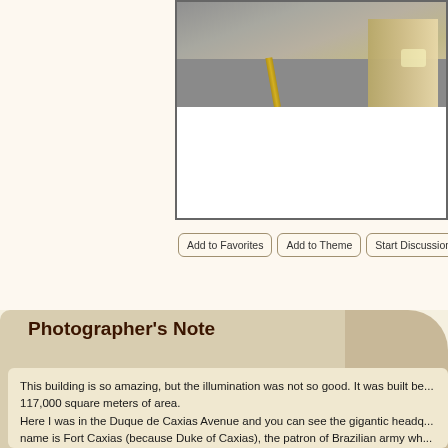[Figure (photo): Partial view of a photograph showing an aerial or ground-level view of a building/road scene, with a yellow stripe/sword-like structure visible, and a large building on the right side. The lower portion of the image shows white space (caption area).]
Add to Favorites   Add to Theme   Start Discussion   Po...
Photographer's Note
This building is so amazing, but the illumination was not so good. It was built be... 117,000 square meters of area.
Here I was in the Duque de Caxias Avenue and you can see the gigantic headq... name is Fort Caxias (because Duke of Caxias), the patron of Brazilian army wh... dismantled when the emperor Pedro II was only a teen and faced the menace o... war Brazil faced at the end of 19th century. Caxias was the only duke of Brazilia... choose the name of his noble title, based in a city of Maranhão he conquered d... extinguished. He was the military instructor of the emperor when young and a re... Niemever said the obelisk was the sword of Caxias and I guess the structure...